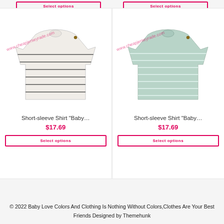Select options (top left button)
Select options (top right button)
[Figure (photo): Short-sleeve striped baby shirt in white/black on light background with watermark www.cheapjerseyrade.com]
Short-sleeve Shirt "Baby..."
$17.69
Select options
[Figure (photo): Short-sleeve striped baby shirt in mint/light green on light background with watermark www.cheapjerseyrade.com]
Short-sleeve Shirt "Baby..."
$17.69
Select options
© 2022 Baby Love Colors And Clothing Is Nothing Without Colors,Clothes Are Your Best Friends Designed by Themehunk